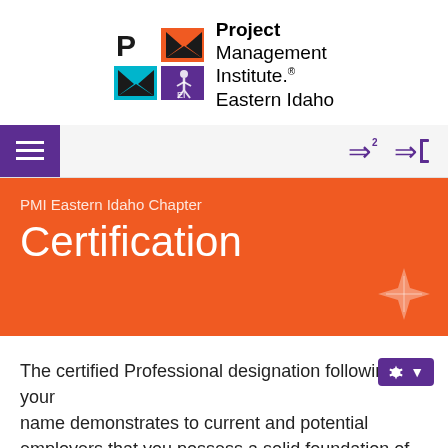[Figure (logo): PMI Eastern Idaho Chapter logo — PM acronym in orange and purple blocks on left, 'Project Management Institute. Eastern Idaho' text on right]
[Figure (screenshot): Website navigation bar with purple hamburger menu on left and purple login/register icons on right]
PMI Eastern Idaho Chapter
Certification
The certified Professional designation following your name demonstrates to current and potential employers that you possess a solid foundation of experience and education in project management. This